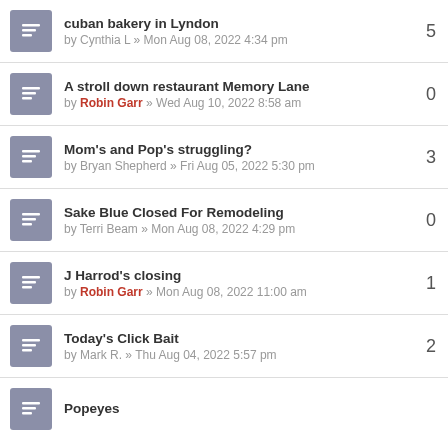cuban bakery in Lyndon | by Cynthia L » Mon Aug 08, 2022 4:34 pm | 5
A stroll down restaurant Memory Lane | by Robin Garr » Wed Aug 10, 2022 8:58 am | 0
Mom's and Pop's struggling? | by Bryan Shepherd » Fri Aug 05, 2022 5:30 pm | 3
Sake Blue Closed For Remodeling | by Terri Beam » Mon Aug 08, 2022 4:29 pm | 0
J Harrod's closing | by Robin Garr » Mon Aug 08, 2022 11:00 am | 1
Today's Click Bait | by Mark R. » Thu Aug 04, 2022 5:57 pm | 2
Popeyes